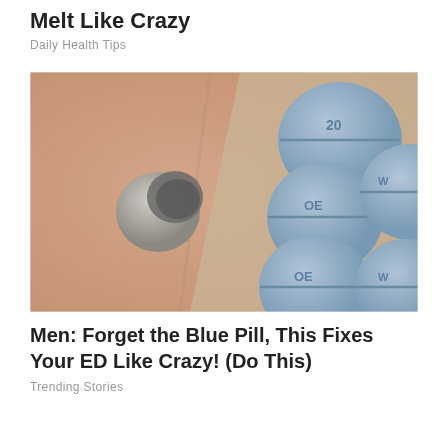Melt Like Crazy
Daily Health Tips
[Figure (photo): Close-up photograph of several blue round pills/tablets with score lines and embossed markings, along with one smaller white/grey broken pill, resting on a surface that appears to be skin or fabric.]
Men: Forget the Blue Pill, This Fixes Your ED Like Crazy! (Do This)
Trending Stories